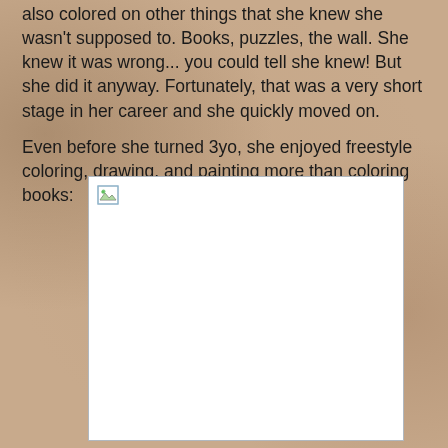also colored on other things that she knew she wasn't supposed to. Books, puzzles, the wall. She knew it was wrong... you could tell she knew! But she did it anyway. Fortunately, that was a very short stage in her career and she quickly moved on.
Even before she turned 3yo, she enjoyed freestyle coloring, drawing, and painting more than coloring books:
[Figure (photo): A broken/missing image placeholder showing a small image icon with a white background, bordered by a thin gray rectangle border.]